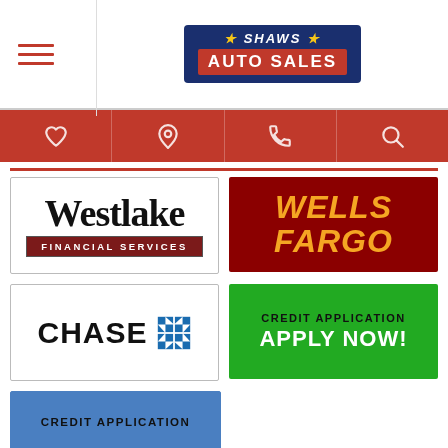SHAWS AUTO SALES
[Figure (logo): Westlake Financial Services logo - black serif Westlake text with red banner reading FINANCIAL SERVICES]
[Figure (logo): Wells Fargo logo - dark red background with gold italic WELLS FARGO text]
[Figure (logo): Chase logo - black CHASE text with Chase octagon symbol in blue]
[Figure (infographic): Green button: CREDIT APPLICATION APPLY NOW!]
[Figure (infographic): Blue button: CREDIT APPLICATION]